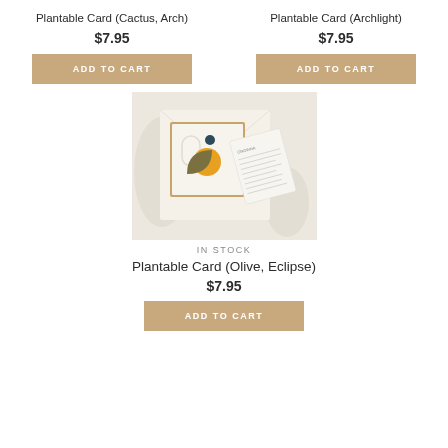Plantable Card (Cactus, Arch)
$7.95
ADD TO CART
Plantable Card (Archlight)
$7.95
ADD TO CART
[Figure (photo): Product photo of Plantable Card (Olive, Eclipse) showing an artistic greeting card with geometric sun/moon shapes in olive, orange, and dark teal on a warm cream background, with envelope and instruction card.]
IN STOCK
Plantable Card (Olive, Eclipse)
$7.95
ADD TO CART